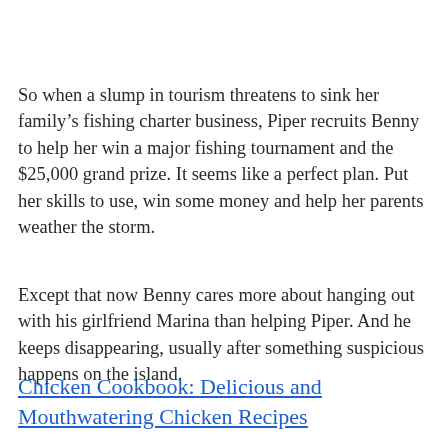So when a slump in tourism threatens to sink her family’s fishing charter business, Piper recruits Benny to help her win a major fishing tournament and the $25,000 grand prize. It seems like a perfect plan. Put her skills to use, win some money and help her parents weather the storm.
Except that now Benny cares more about hanging out with his girlfriend Marina than helping Piper. And he keeps disappearing, usually after something suspicious happens on the island.
Chicken Cookbook: Delicious and Mouthwatering Chicken Recipes